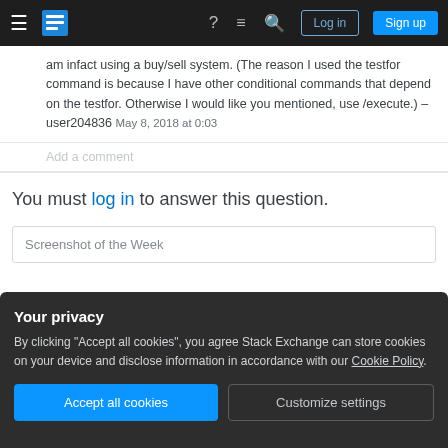Stack Exchange navigation bar with hamburger menu, logo, help, chat, search, Log in, Sign up buttons
am infact using a buy/sell system. (The reason I used the testfor command is because I have other conditional commands that depend on the testfor. Otherwise I would like you mentioned, use /execute.) – user204836 May 8, 2018 at 0:03
Add a comment
You must log in to answer this question.
Screenshot of the Week
Your privacy
By clicking "Accept all cookies", you agree Stack Exchange can store cookies on your device and disclose information in accordance with our Cookie Policy.
Accept all cookies
Customize settings